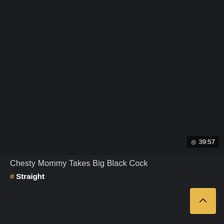[Figure (screenshot): Dark thumbnail area for a video]
39:57
Chesty Mommy Takes Big Black Cock
# Straight